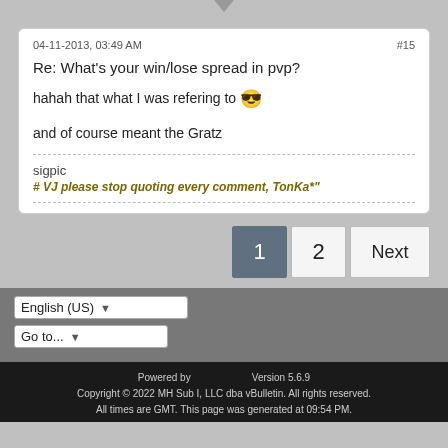04-11-2013, 03:49 AM
#15
Re: What's your win/lose spread in pvp?
hahah that what I was refering to 😎
and of course meant the Gratz
sigpic
# VJ please stop quoting every comment, TonKa*"
1  2  Next
English (US)
Go to...
Powered by   Version 5.6.9
Copyright © 2022 MH Sub I, LLC dba vBulletin. All rights reserved.
All times are GMT. This page was generated at 09:54 PM.